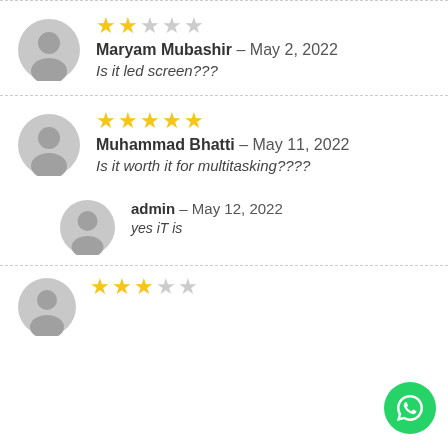Maryam Mubashir – May 2, 2022 | 2 stars | Is it led screen???
Muhammad Bhatti – May 11, 2022 | 5 stars | Is it worth it for multitasking????
admin – May 12, 2022 | yes iT is
3 stars (partial review)